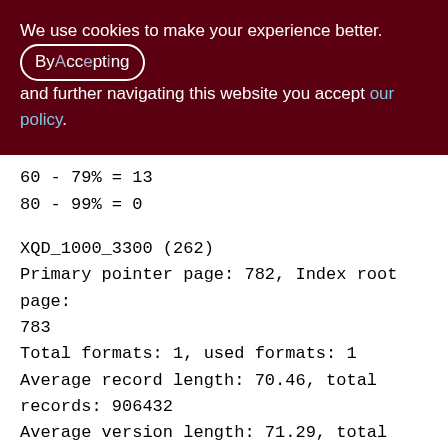We use cookies to make your experience better. By accepting and further navigating this website you accept our policy.
60 - 79% = 13
80 - 99% = 0
XQD_1000_3300 (262)
Primary pointer page: 782, Index root page: 783
Total formats: 1, used formats: 1
Average record length: 70.46, total records: 906432
Average version length: 71.29, total versions: 21651, max versions: 1
Average fragment length: 0.00, total fragments: 0, max fragments: 0